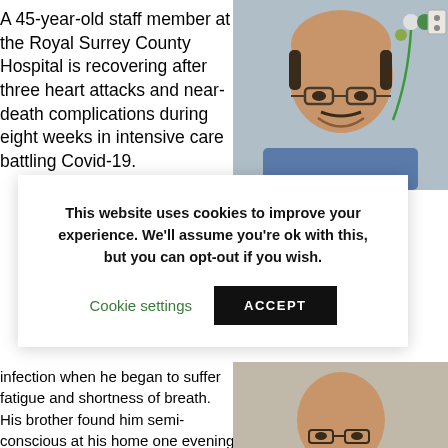A 45-year-old staff member at the Royal Surrey County Hospital is recovering after three heart attacks and near-death complications during eight weeks in intensive care battling Covid-19.
[Figure (photo): Man with glasses smiling in a hospital bed, wearing a patterned shirt, with medical equipment visible in the background.]
This website uses cookies to improve your experience. We'll assume you're ok with this, but you can opt-out if you wish.
Cookie settings
ACCEPT
infection when he began to suffer fatigue and shortness of breath. His brother found him semi-conscious at his home one evening and called an ambulance.
[Figure (photo): Man wearing a hospital wristband, sitting up, wearing a patterned shirt.]
Chris Bowers
Chris said his overriding memory of that time was a feeling of being "complet dazed and tired".